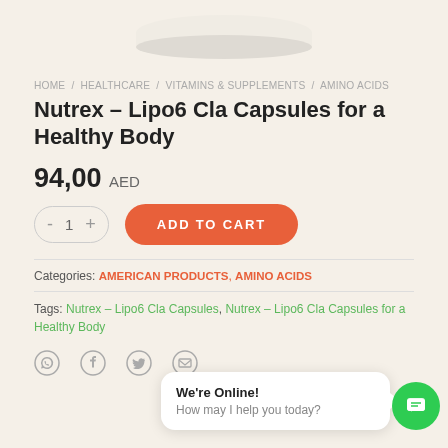[Figure (photo): Bottom portion of a white pill/capsule container product image on a cream/beige background]
HOME / HEALTHCARE / VITAMINS & SUPPLEMENTS / AMINO ACIDS
Nutrex – Lipo6 Cla Capsules for a Healthy Body
94,00 AED
- 1 + ADD TO CART
Categories: AMERICAN PRODUCTS, AMINO ACIDS
Tags: Nutrex – Lipo6 Cla Capsules, Nutrex – Lipo6 Cla Capsules for a Healthy Body
[Figure (infographic): Social share icons: WhatsApp, Facebook, Twitter, Email]
We're Online! How may I help you today?